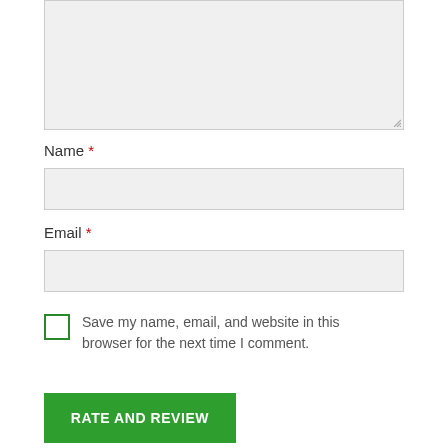[Figure (screenshot): A textarea input box with light gray background and resize handle in bottom-right corner.]
Name *
[Figure (screenshot): A text input field for Name with light gray background and border.]
Email *
[Figure (screenshot): A text input field for Email with light gray background and border.]
Save my name, email, and website in this browser for the next time I comment.
RATE AND REVIEW